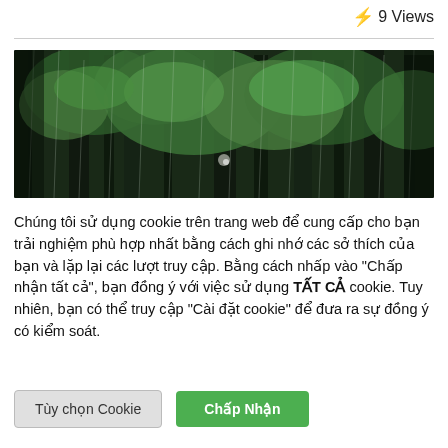⚡ 9 Views
[Figure (photo): A blurred outdoor forest/garden scene with rain falling, green trees and foliage visible in background]
Chúng tôi sử dụng cookie trên trang web để cung cấp cho bạn trải nghiệm phù hợp nhất bằng cách ghi nhớ các sở thích của bạn và lặp lại các lượt truy cập. Bằng cách nhấp vào "Chấp nhận tất cả", bạn đồng ý với việc sử dụng TẤT CẢ cookie. Tuy nhiên, bạn có thể truy cập "Cài đặt cookie" để đưa ra sự đồng ý có kiểm soát.
Tùy chọn Cookie | Chấp Nhận